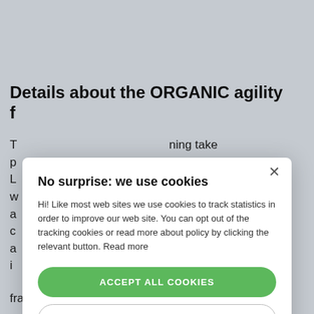Details about the ORGANIC agility f...
T... ning take p... gile L... nization that w... ility provides a... or cultural c... ng and a... o every leader i... adership® framework supports Leadership growth as a
[Figure (screenshot): Cookie consent modal dialog with title 'No surprise: we use cookies', body text explaining cookie tracking, an 'ACCEPT ALL COOKIES' green button, a 'DECLINE ALL COOKIES' outlined button, and a 'SHOW DETAILS' link with gear icon. A close (×) button appears top-right.]